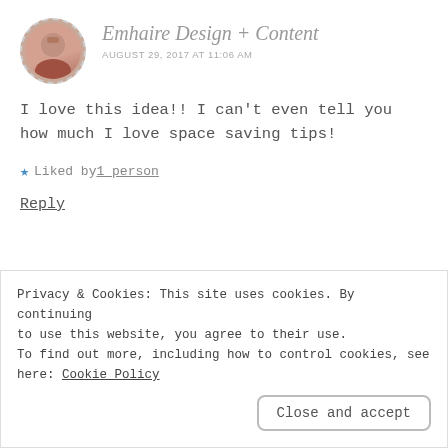Emhaire Design + Content
AUGUST 29, 2017 AT 11:06 AM
I love this idea!! I can’t even tell you how much I love space saving tips!
★ Liked by 1 person
Reply
adventuresofabusymomcom
Privacy & Cookies: This site uses cookies. By continuing to use this website, you agree to their use.
To find out more, including how to control cookies, see here: Cookie Policy
Close and accept
you liked this!